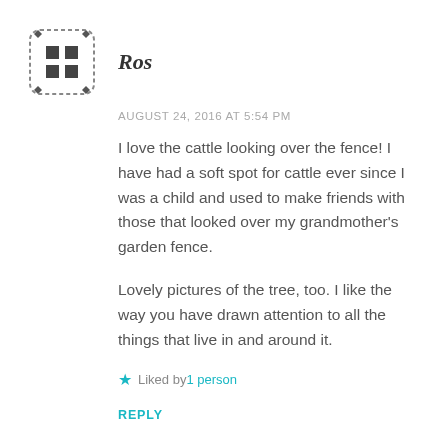[Figure (illustration): Identicon avatar image — pixelated grid pattern with dark squares on dashed rounded-square border background]
Ros
AUGUST 24, 2016 AT 5:54 PM
I love the cattle looking over the fence! I have had a soft spot for cattle ever since I was a child and used to make friends with those that looked over my grandmother's garden fence.
Lovely pictures of the tree, too. I like the way you have drawn attention to all the things that live in and around it.
★ Liked by 1 person
REPLY